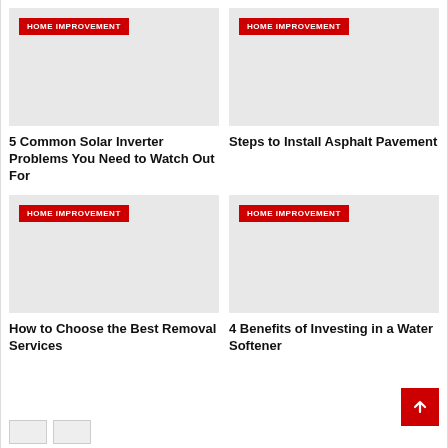[Figure (other): Home improvement article card image placeholder (gray) with HOME IMPROVEMENT red badge]
5 Common Solar Inverter Problems You Need to Watch Out For
[Figure (other): Home improvement article card image placeholder (gray) with HOME IMPROVEMENT red badge]
Steps to Install Asphalt Pavement
[Figure (other): Home improvement article card image placeholder (gray) with HOME IMPROVEMENT red badge]
How to Choose the Best Removal Services
[Figure (other): Home improvement article card image placeholder (gray) with HOME IMPROVEMENT red badge]
4 Benefits of Investing in a Water Softener